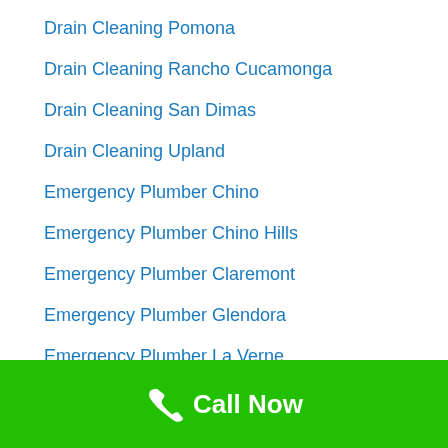Drain Cleaning Pomona
Drain Cleaning Rancho Cucamonga
Drain Cleaning San Dimas
Drain Cleaning Upland
Emergency Plumber Chino
Emergency Plumber Chino Hills
Emergency Plumber Claremont
Emergency Plumber Glendora
Emergency Plumber La Verne
Call Now